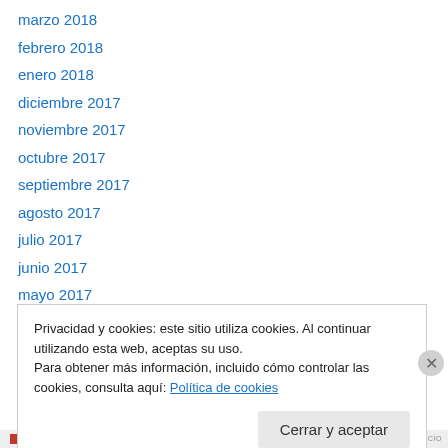marzo 2018
febrero 2018
enero 2018
diciembre 2017
noviembre 2017
octubre 2017
septiembre 2017
agosto 2017
julio 2017
junio 2017
mayo 2017
abril 2017
marzo 2017
Privacidad y cookies: este sitio utiliza cookies. Al continuar utilizando esta web, aceptas su uso.
Para obtener más información, incluido cómo controlar las cookies, consulta aquí: Política de cookies
Cerrar y aceptar